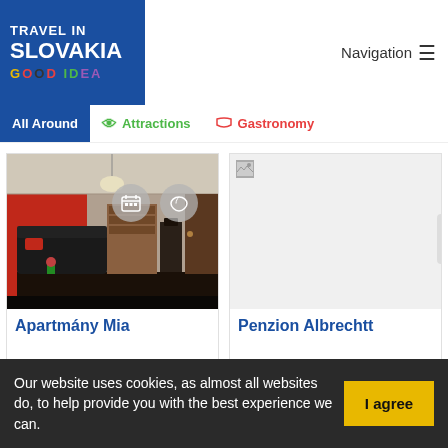[Figure (logo): Travel in Slovakia Good Idea logo — white text on blue background with colorful lettering]
Navigation ≡
All Around
🚗 Attractions
🍽 Gastronomy
[Figure (photo): Interior photo of Apartmány Mia — living room with red wall, black leather sofa, wood stove, pendant lights]
Apartmány Mia
[Figure (photo): Penzion Albrechtt — broken/loading image placeholder]
Penzion Albrechtt
Our website uses cookies, as almost all websites do, to help provide you with the best experience we can.
I agree